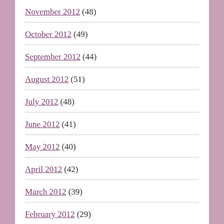November 2012 (48)
October 2012 (49)
September 2012 (44)
August 2012 (51)
July 2012 (48)
June 2012 (41)
May 2012 (40)
April 2012 (42)
March 2012 (39)
February 2012 (29)
January 2012 (37)